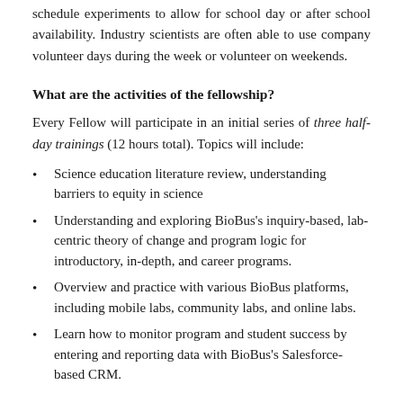schedule experiments to allow for school day or after school availability. Industry scientists are often able to use company volunteer days during the week or volunteer on weekends.
What are the activities of the fellowship?
Every Fellow will participate in an initial series of three half-day trainings (12 hours total). Topics will include:
Science education literature review, understanding barriers to equity in science
Understanding and exploring BioBus's inquiry-based, lab-centric theory of change and program logic for introductory, in-depth, and career programs.
Overview and practice with various BioBus platforms, including mobile labs, community labs, and online labs.
Learn how to monitor program and student success by entering and reporting data with BioBus's Salesforce-based CRM.